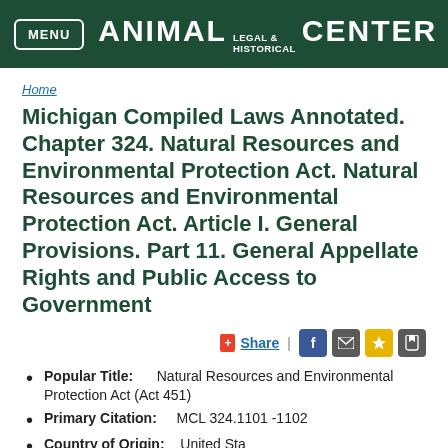MENU | ANIMAL LEGAL & HISTORICAL CENTER
Home
Michigan Compiled Laws Annotated. Chapter 324. Natural Resources and Environmental Protection Act. Natural Resources and Environmental Protection Act. Article I. General Provisions. Part 11. General Appellate Rights and Public Access to Government
Share | [social icons]
Popular Title: Natural Resources and Environmental Protection Act (Act 451)
Primary Citation: MCL 324.1101 -1102
Country of Origin: United States